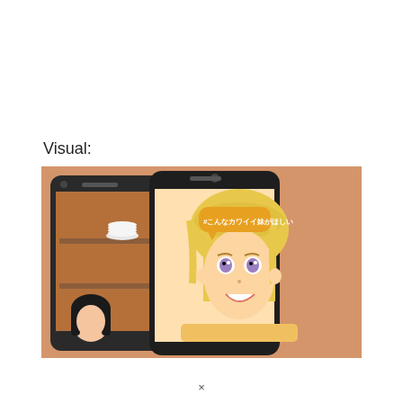Visual:
[Figure (illustration): Two smartphones displayed at angles showing anime-style content. The left phone shows a dark-haired anime character in a kitchen setting with shelves. The right phone shows a blonde anime girl with purple eyes smiling, with a Japanese text speech bubble reading '#こんなカワイイ妹がほしい'.]
×